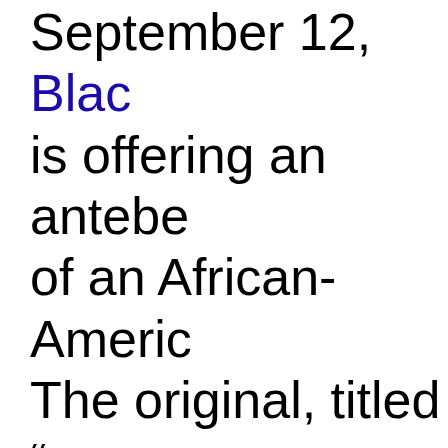September 12, Blackwood's is offering an antebellum portrait of an African-American man. The original, titled "The Banjo Player," was painted by American artist William Sidney Mount (American, 1807-18...) only a few short years before the Civil War would -- to